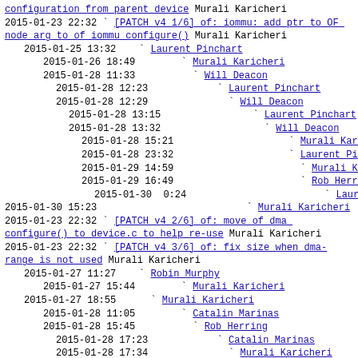configuration from parent device Murali Karicheri
2015-01-23 22:32  ` [PATCH v4 1/6] of: iommu: add ptr to OF node arg to of iommu configure() Murali Karicheri
2015-01-25 13:32      ` Laurent Pinchart
2015-01-26 18:49         ` Murali Karicheri
2015-01-28 11:33           ` Will Deacon
2015-01-28 12:23             ` Laurent Pinchart
2015-01-28 12:29               ` Will Deacon
2015-01-28 13:15                 ` Laurent Pinchart
2015-01-28 13:32                   ` Will Deacon
2015-01-28 15:21                     ` Murali Karicheri
2015-01-28 23:32                     ` Laurent Pinchart
2015-01-29 14:59                       ` Murali Karicheri
2015-01-29 16:49                       ` Rob Herring
2015-01-30  0:24                         ` Laurent Pinchart
2015-01-30 15:23                           ` Murali Karicheri
2015-01-23 22:32  ` [PATCH v4 2/6] of: move of dma configure() to device.c to help re-use Murali Karicheri
2015-01-23 22:32  ` [PATCH v4 3/6] of: fix size when dma-range is not used Murali Karicheri
2015-01-27 11:27      ` Robin Murphy
2015-01-27 15:44         ` Murali Karicheri
2015-01-27 18:55       ` Murali Karicheri
2015-01-28 11:05         ` Catalin Marinas
2015-01-28 15:45           ` Rob Herring
2015-01-28 17:23             ` Catalin Marinas
2015-01-28 17:34               ` Murali Karicheri
2015-01-28 15:55       ` Robin Murphy